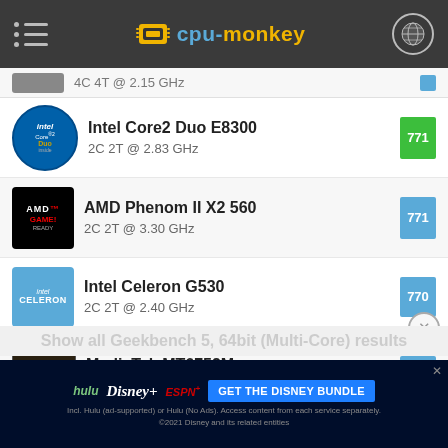cpu-monkey
Intel Core2 Duo E8300 | 2C 2T @ 2.83 GHz | Score: 771
AMD Phenom II X2 560 | 2C 2T @ 3.30 GHz | Score: 771
Intel Celeron G530 | 2C 2T @ 2.40 GHz | Score: 770
MediaTek MT6752M | 8C 8T @ 1.50 GHz | Score: 769
Show all Geekbench 5, 64bit (Multi-Core) results
[Figure (screenshot): Disney Bundle advertisement banner: hulu, Disney+, ESPN+ logos with GET THE DISNEY BUNDLE CTA button]